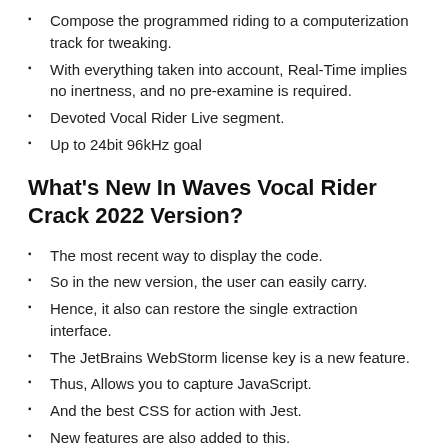Compose the programmed riding to a computerization track for tweaking.
With everything taken into account, Real-Time implies no inertness, and no pre-examine is required.
Devoted Vocal Rider Live segment.
Up to 24bit 96kHz goal
What's New In Waves Vocal Rider Crack 2022 Version?
The most recent way to display the code.
So in the new version, the user can easily carry.
Hence, it also can restore the single extraction interface.
The JetBrains WebStorm license key is a new feature.
Thus, Allows you to capture JavaScript.
And the best CSS for action with Jest.
New features are also added to this.